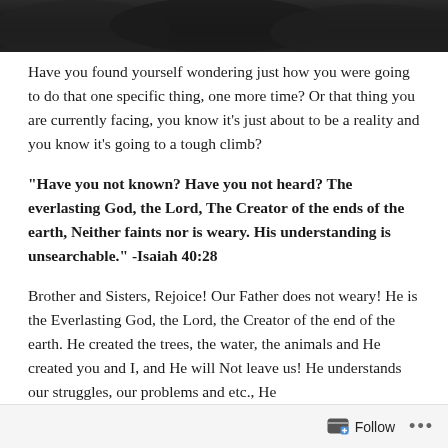[Figure (photo): Dark nature/trees photo banner at the top of the page]
Have you found yourself wondering just how you were going to do that one specific thing, one more time? Or that thing you are currently facing, you know it’s just about to be a reality and you know it’s going to a tough climb?
“Have you not known? Have you not heard? The everlasting God, the Lord, The Creator of the ends of the earth, Neither faints nor is weary. His understanding is unsearchable.” -Isaiah 40:28
Brother and Sisters, Rejoice! Our Father does not weary! He is the Everlasting God, the Lord, the Creator of the end of the earth. He created the trees, the water, the animals and He created you and I, and He will Not leave us! He understands our struggles, our problems and etc., He
Follow •••